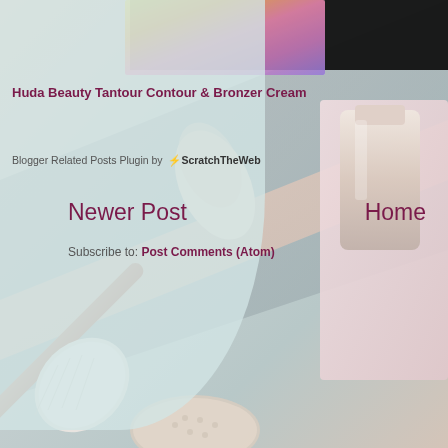[Figure (photo): Background photo of beauty/makeup products including a makeup brush, powder puff, and cosmetic items arranged on a light pastel surface. Top portion shows a blurred colorful image.]
Huda Beauty Tantour Contour & Bronzer Cream
Blogger Related Posts Plugin by ⚡ScratchTheWeb
Newer Post
Home
Subscribe to: Post Comments (Atom)